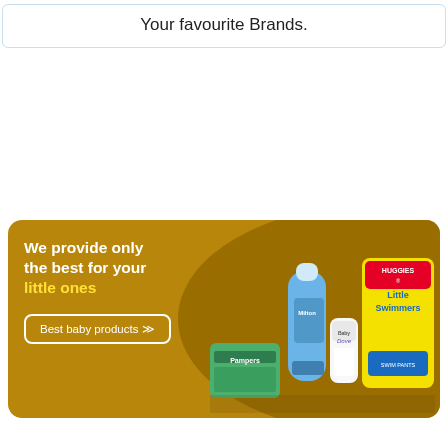Your favourite Brands.
[Figure (infographic): Promotional banner for baby products with golden/brown background. Text reads 'We provide only the best for your little ones' with a 'Best baby products' button. Product images include Milton bottle, Baby Dove cream, Pampers wipes, Huggies Little Swimmers packaging.]